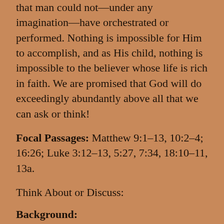that man could not—under any imagination—have orchestrated or performed. Nothing is impossible for Him to accomplish, and as His child, nothing is impossible to the believer whose life is rich in faith. We are promised that God will do exceedingly abundantly above all that we can ask or think!
Focal Passages: Matthew 9:1–13, 10:2–4; 16:26; Luke 3:12–13, 5:27, 7:34, 18:10–11, 13a.
Think About or Discuss:
Background:
Matthew, the tax collector, was someone the Jews would have gone out of their way to avoid. In that day, tax collectors ranked with the lowest of the low in terms